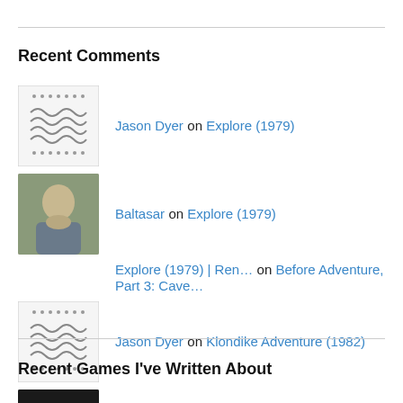Recent Comments
Jason Dyer on Explore (1979)
Baltasar on Explore (1979)
Explore (1979) | Ren… on Before Adventure, Part 3: Cave…
Jason Dyer on Klondike Adventure (1982)
UAW_The Marshal on Klondike Adventure (1982)
Recent Games I've Written About